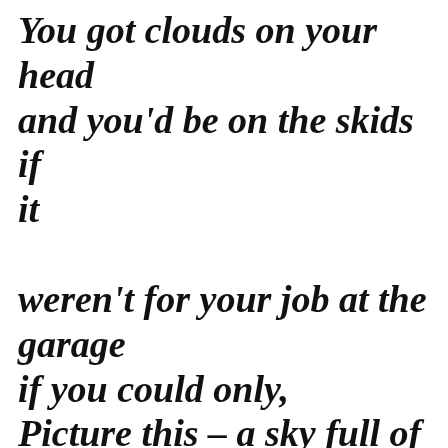You got clouds on your head and you'd be on the skids if it weren't for your job at the garage if you could only, Picture this – a sky full of thunder Picture this – my telephone number One and One is what I'm